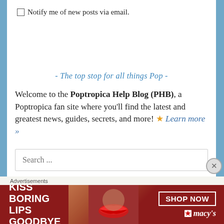Notify me of new posts via email.
- The top stop for all things Pop -
Welcome to the Poptropica Help Blog (PHB), a Poptropica fan site where you'll find the latest and greatest news, guides, secrets, and more! ★ Learn more »
Search ...
Advertisements
[Figure (other): Macy's lipstick advertisement banner: 'KISS BORING LIPS GOODBYE' with SHOP NOW button and Macy's logo on dark red background]